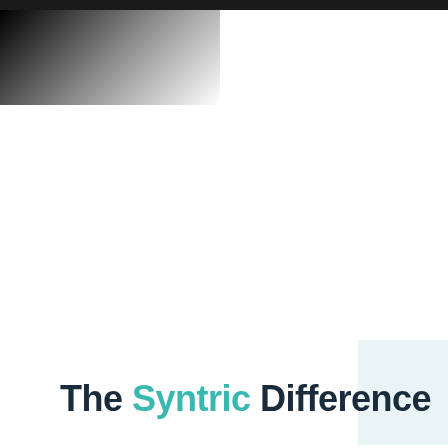[Figure (illustration): Dark header bar at top with a black-to-white gradient block in the upper left corner, and a light blue/mint rectangle in the lower right area. Decorative design elements for a cover or title page.]
The Syntric Difference